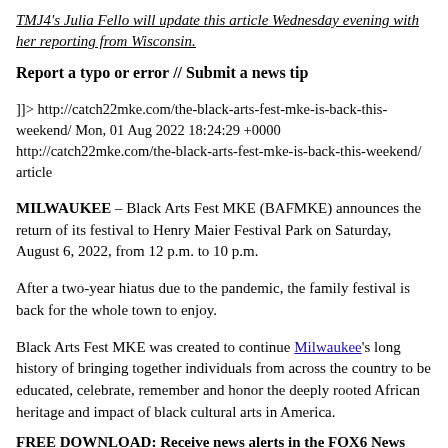TMJ4's Julia Fello will update this article Wednesday evening with her reporting from Wisconsin.
Report a typo or error // Submit a news tip
]]> http://catch22mke.com/the-black-arts-fest-mke-is-back-this-weekend/ Mon, 01 Aug 2022 18:24:29 +0000 http://catch22mke.com/the-black-arts-fest-mke-is-back-this-weekend/ article
MILWAUKEE – Black Arts Fest MKE (BAFMKE) announces the return of its festival to Henry Maier Festival Park on Saturday, August 6, 2022, from 12 p.m. to 10 p.m.
After a two-year hiatus due to the pandemic, the family festival is back for the whole town to enjoy.
Black Arts Fest MKE was created to continue Milwaukee's long history of bringing together individuals from across the country to be educated, celebrate, remember and honor the deeply rooted African heritage and impact of black cultural arts in America.
FREE DOWNLOAD: Receive news alerts in the FOX6 News app for iOS or Android